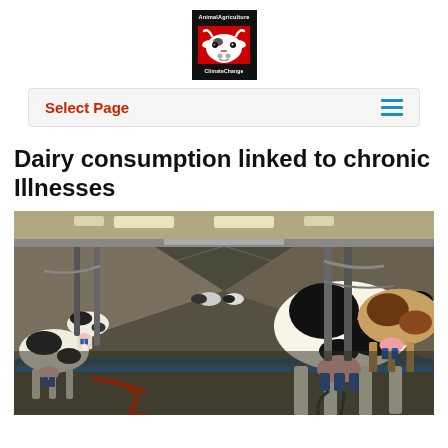[Figure (logo): Animal Agriculture and Climate Change logo: black box with white cow head illustration, text 'AnimalAgriculture' at top and 'ClimateChange' at bottom]
Select Page
Dairy consumption linked to chronic Illnesses
[Figure (photo): Interior of a dairy milking parlor showing rows of black-and-white cows attached to milking machines, with blue pipes and a red hose on the floor]